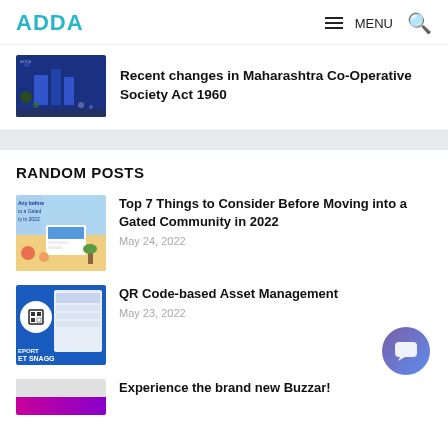ADDA | MENU
Recent changes in Maharashtra Co-Operative Society Act 1960
RANDOM POSTS
Top 7 Things to Consider Before Moving into a Gated Community in 2022 | May 24, 2022
QR Code-based Asset Management | May 23, 2022
Experience the brand new Buzzar!